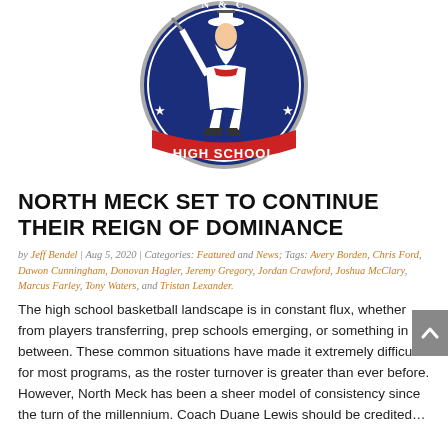[Figure (logo): North Meck High School circular logo with a Minuteman mascot, dark blue circle with red and white text reading 'HIGH SCHOOL', stars on sides]
NORTH MECK SET TO CONTINUE THEIR REIGN OF DOMINANCE
by Jeff Bendel | Aug 5, 2020 | Categories: Featured and News; Tags: Avery Borden, Chris Ford, Dawon Cunningham, Donovan Hagler, Jeremy Gregory, Jordan Crawford, Joshua McClary, Marcus Farley, Tony Waters, and Tristan Lexander.
The high school basketball landscape is in constant flux, whether from players transferring, prep schools emerging, or something in between. These common situations have made it extremely difficult for most programs, as the roster turnover is greater than ever before. However, North Meck has been a sheer model of consistency since the turn of the millennium. Coach Duane Lewis should be credited…